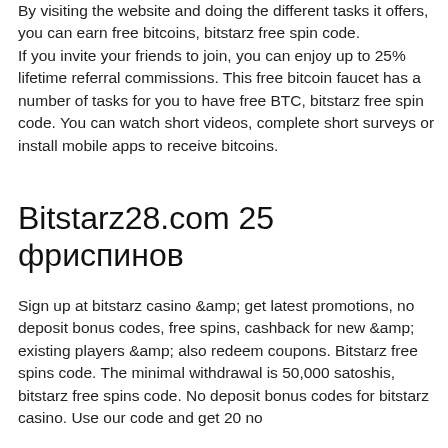By visiting the website and doing the different tasks it offers, you can earn free bitcoins, bitstarz free spin code. If you invite your friends to join, you can enjoy up to 25% lifetime referral commissions. This free bitcoin faucet has a number of tasks for you to have free BTC, bitstarz free spin code. You can watch short videos, complete short surveys or install mobile apps to receive bitcoins.
Bitstarz28.com 25 фриспинов
Sign up at bitstarz casino &amp; get latest promotions, no deposit bonus codes, free spins, cashback for new &amp; existing players &amp; also redeem coupons. Bitstarz free spins code. The minimal withdrawal is 50,000 satoshis, bitstarz free spins code. No deposit bonus codes for bitstarz casino. Use our code and get 20 no